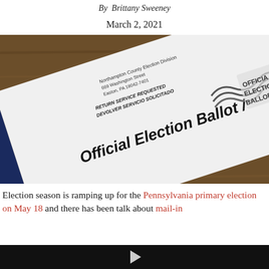By  Brittany Sweeney
March 2, 2021
[Figure (photo): A white Official Election Ballot envelope from Northampton County Election Division, showing return address and bilingual text, lying on a wooden surface.]
Election season is ramping up for the Pennsylvania primary election on May 18 and there has been talk about mail-in